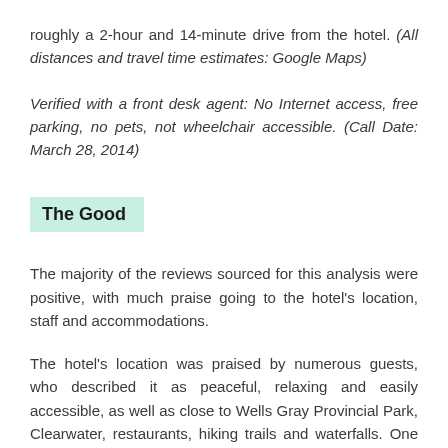roughly a 2-hour and 14-minute drive from the hotel. (All distances and travel time estimates: Google Maps)
Verified with a front desk agent: No Internet access, free parking, no pets, not wheelchair accessible. (Call Date: March 28, 2014)
The Good
The majority of the reviews sourced for this analysis were positive, with much praise going to the hotel's location, staff and accommodations.
The hotel's location was praised by numerous guests, who described it as peaceful, relaxing and easily accessible, as well as close to Wells Gray Provincial Park, Clearwater, restaurants, hiking trails and waterfalls. One patron noted, "It feels like the cabins